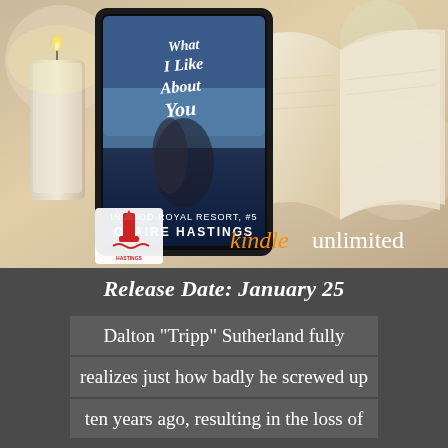[Figure (photo): Book cover of 'What I Like About You' by Claire Hastings, showing a couple embracing on a beach against an ocean backdrop. The book is displayed on a tablet device. Background shows a lit candle on the left and an open book on the right. Publisher logo (Claire Hastings with a ship/lighthouse icon) in bottom left. Kindle Unlimited logo in bottom right.]
Release Date: January 25
Dalton "Tripp" Sutherland fully realizes just how badly he screwed up ten years ago, resulting in the loss of